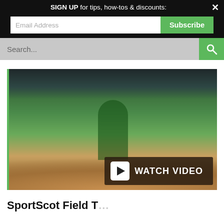SIGN UP for tips, how-tos & discounts: [Email Address] [Subscribe] [×]
[Figure (screenshot): Website search bar with green search button]
[Figure (photo): A man in a green shirt and blue cap using a field grooming tool on a baseball diamond pitcher's mound at a stadium, with a WATCH VIDEO overlay button in the lower right]
SportScot Field T…